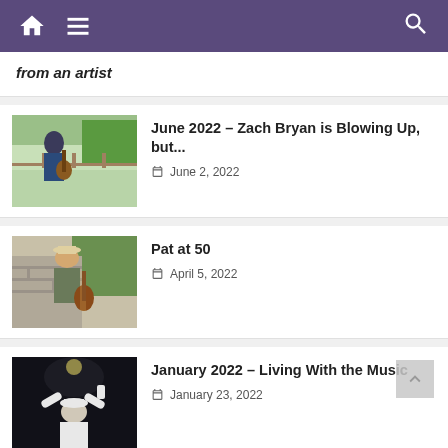Navigation bar with home, menu, and search icons
from an artist
June 2022 – Zach Bryan is Blowing Up, but... | June 2, 2022
Pat at 50 | April 5, 2022
January 2022 – Living With the Music | January 23, 2022
November 2021 – Gratitude